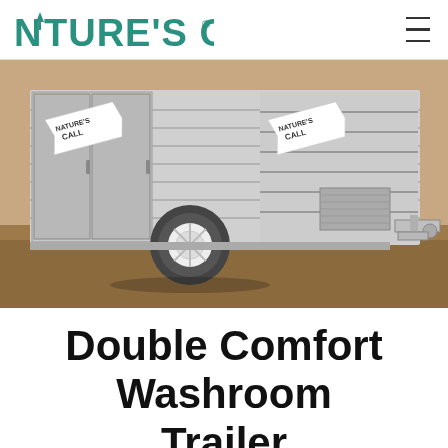NATURE'S CALL
[Figure (photo): A silver/aluminum portable washroom trailer with 'Nature's Call' branding on the doors, shown outdoors on a dirt surface. The trailer has horizontal ribbing, two door compartments on the left side, and a tow hitch on the right. The trailer has white wheels and is parked on a dusty/muddy ground.]
Double Comfort Washroom Trailer